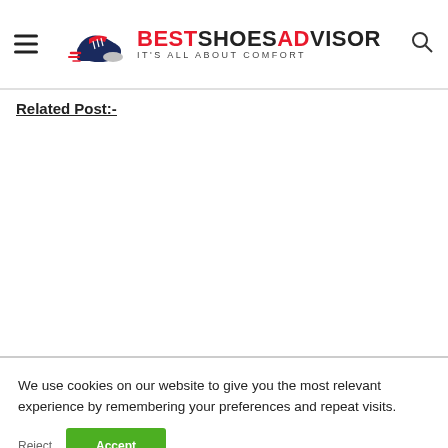BEST SHOES ADVISOR — IT'S ALL ABOUT COMFORT
Related Post:-
We use cookies on our website to give you the most relevant experience by remembering your preferences and repeat visits.